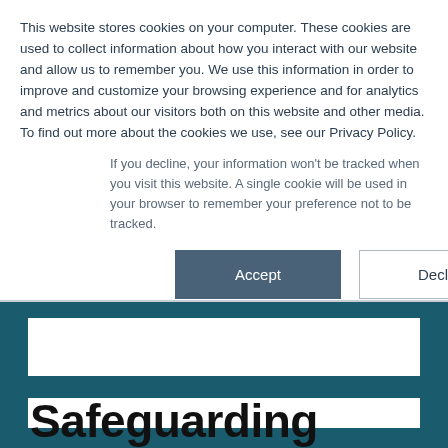This website stores cookies on your computer. These cookies are used to collect information about how you interact with our website and allow us to remember you. We use this information in order to improve and customize your browsing experience and for analytics and metrics about our visitors both on this website and other media. To find out more about the cookies we use, see our Privacy Policy.
If you decline, your information won't be tracked when you visit this website. A single cookie will be used in your browser to remember your preference not to be tracked.
Accept
Decline
Safeguarding